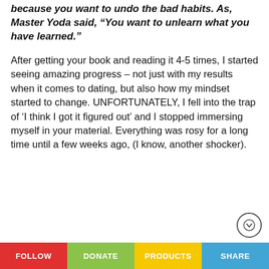because you want to undo the bad habits. As, Master Yoda said, “You want to unlearn what you have learned.”
After getting your book and reading it 4-5 times, I started seeing amazing progress – not just with my results when it comes to dating, but also how my mindset started to change. UNFORTUNATELY, I fell into the trap of ‘I think I got it figured out’ and I stopped immersing myself in your material. Everything was rosy for a long time until a few weeks ago, (I know, another shocker).
FOLLOW | DONATE | PRODUCTS | SHARE